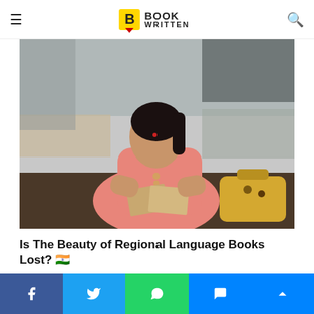Book Written
[Figure (photo): A woman in a pink sweater sitting at a dark table, reading a book, with a yellow handbag beside her. Kitchen background.]
Is The Beauty of Regional Language Books Lost? 🇮🇳
Do the regional Hindi, Gujarati, meaning the books...
Facebook share | Twitter share | WhatsApp share | Messenger share | Scroll up